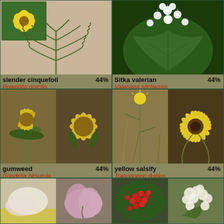[Figure (photo): Two photos: yellow flower (slender cinquefoil) top-left inset, and a green feathery leaf on tan background. Plant species identification card.]
slender cinquefoil 44% Potentilla gracilis
[Figure (photo): White clustered flowers of Sitka valerian with large green maple-like leaves.]
Sitka valerian 44% Valeriana sitchensis
[Figure (photo): Two photos of gumweed (Grindelia hirsutula): yellow daisy-like flowers with green spiky bracts.]
gumweed 44% Grindelia hirsutula
[Figure (photo): Two photos of yellow salsify (Tragopogon dubius): tall grass-like plant with yellow flower, and close-up of yellow daisy-like flower.]
yellow salsify 44% Tragopogon dubius
[Figure (photo): Partial bottom row: two photos of an unknown plant (light pink/white flowers), and two photos of red berries and white fluffy flowers.]